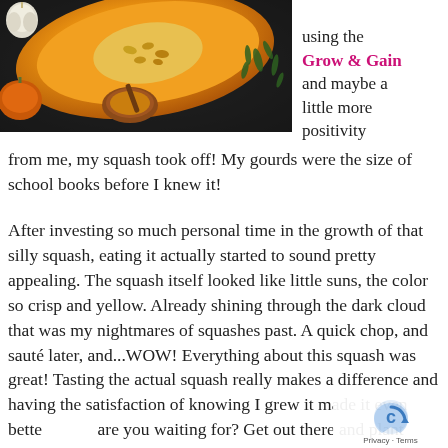[Figure (photo): Overhead dark background photo showing butternut squash halves cut open revealing orange flesh and seeds, a wooden honey dipper in a small bowl, garlic bulbs, and green herbs/thyme scattered around.]
program using the Grow & Gain and maybe a little more positivity from me, my squash took off! My gourds were the size of school books before I knew it!
After investing so much personal time in the growth of that silly squash, eating it actually started to sound pretty appealing. The squash itself looked like little suns, the color so crisp and yellow. Already shining through the dark cloud that was my nightmares of squashes past. A quick chop, and sauté later, and...WOW! Everything about this squash was great! Tasting the actual squash really makes a difference and having the satisfaction of knowing I grew it made it even better. What are you waiting for? Get out there and plant those squash!